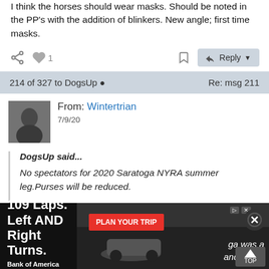I think the horses should wear masks. Should be noted in the PP's with the addition of blinkers. New angle; first time masks.
[Figure (screenshot): Action bar with share icon, heart/like icon showing 1 like, bookmark icon, and Reply button]
214 of 327 to DogsUp ● Re: msg 211
From: Wintertrian
7/9/20
DogsUp said...
No spectators for 2020 Saratoga NYRA summer leg.Purses will be reduced.

Surprisingly
[Figure (screenshot): Advertisement banner: 109 Laps. Left AND Right Turns. Bank of America Roval 400 | Oct. 9 with PLAN YOUR TRIP button and partial text showing 'ga was a' and 'andle was']
TOP button in bottom right corner